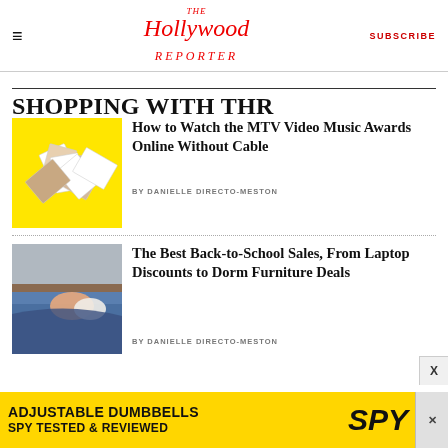The Hollywood Reporter — SUBSCRIBE
SHOPPING WITH THR
How to Watch the MTV Video Music Awards Online Without Cable
BY DANIELLE DIRECTO-MESTON
[Figure (photo): MTV Video Music Awards promotional image on yellow background with scattered photo cards]
The Best Back-to-School Sales, From Laptop Discounts to Dorm Furniture Deals
BY DANIELLE DIRECTO-MESTON
[Figure (photo): Dorm room bed with blue bedding and peach/white pillows]
[Figure (infographic): Advertisement: ADJUSTABLE DUMBBELLS SPY TESTED & REVIEWED on yellow background]